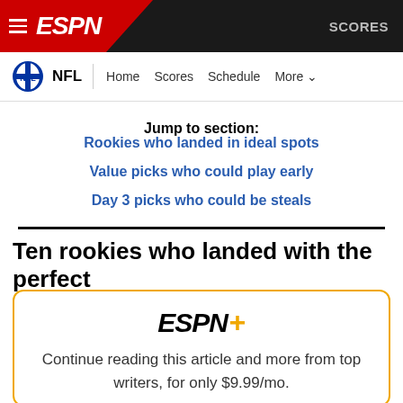ESPN — SCORES
NFL | Home Scores Schedule More
Jump to section:
Rookies who landed in ideal spots
Value picks who could play early
Day 3 picks who could be steals
Ten rookies who landed with the perfect team
[Figure (logo): ESPN+ subscription prompt card with ESPN+ logo and text: Continue reading this article and more from top writers, for only $9.99/mo.]